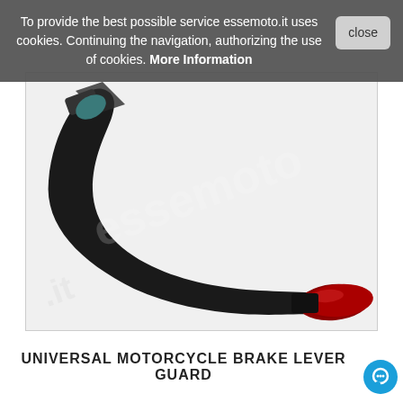To provide the best possible service essemoto.it uses cookies. Continuing the navigation, authorizing the use of cookies. More Information
[Figure (photo): A motorcycle brake lever guard with a black carbon fiber body curving upward on the left and a red anodized aluminum tip on the right end. The part has a distinctive J-shape. A watermark reading 'essemoto' is overlaid on the image. The background is white/light grey.]
UNIVERSAL MOTORCYCLE BRAKE LEVER GUARD